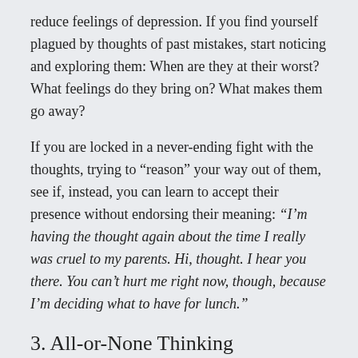reduce feelings of depression. If you find yourself plagued by thoughts of past mistakes, start noticing and exploring them: When are they at their worst? What feelings do they bring on? What makes them go away?
If you are locked in a never-ending fight with the thoughts, trying to “reason” your way out of them, see if, instead, you can learn to accept their presence without endorsing their meaning: “I’m having the thought again about the time I really was cruel to my parents. Hi, thought. I hear you there. You can’t hurt me right now, though, because I’m deciding what to have for lunch.”
3. All-or-None Thinking
It is amazing how frequently all-or-none thinking seems to underlie such a variety of unhealthy psychological states. From panic to low self-esteem